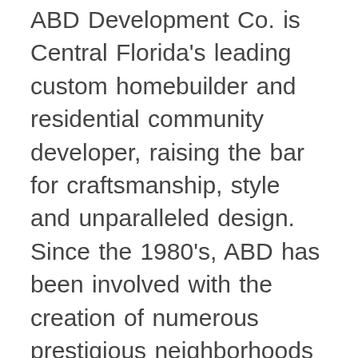ABD Development Co. is Central Florida's leading custom homebuilder and residential community developer, raising the bar for craftsmanship, style and unparalleled design. Since the 1980's, ABD has been involved with the creation of numerous prestigious neighborhoods including Belmere, The Reserve at Belmere, Stoneybrook, Metro West, Magnolia Park, Phillips Landing, Lafayette Club, Bristol Park and Wingfield Reserve. ABD is also currently developing Vizcaya, a Mediterranean-style 85-acre village in Southwest Orlando; Windsor Landing, a new residential community inside Wyndham Lakes in Southeast Orlando; and Toscana, a